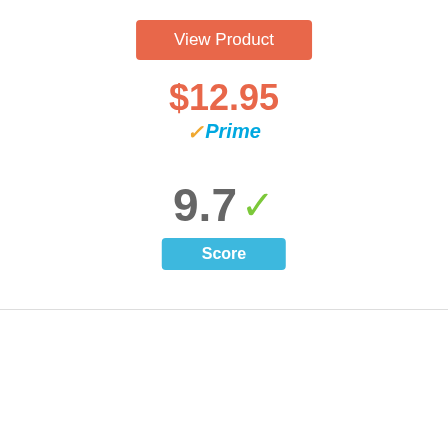[Figure (other): Orange 'View Product' button]
$12.95
✓Prime
9.7 ✓
Score
[Figure (other): Blue circle with number 2 inside, indicating rank #2]
[Figure (photo): Wild Zora Mountain Beef Stick product image]